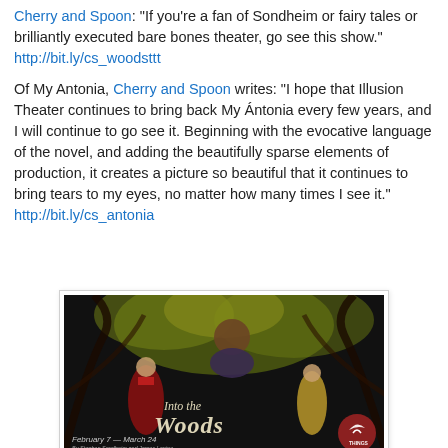Cherry and Spoon: "If you're a fan of Sondheim or fairy tales or brilliantly executed bare bones theater, go see this show." http://bit.ly/cs_woodsttt
Of My Antonia, Cherry and Spoon writes: "I hope that Illusion Theater continues to bring back My Ántonia every few years, and I will continue to go see it. Beginning with the evocative language of the novel, and adding the beautifully sparse elements of production, it creates a picture so beautiful that it continues to bring tears to my eyes, no matter how many times I see it." http://bit.ly/cs_antonia
[Figure (photo): Promotional poster for 'Into the Woods' theatrical production. Shows three figures in a forest setting with the title 'Into the Woods' in stylized text. Text reads: February 7 — March 24. By Stephen Sondheim and James Lapine. Directed by Marcela Lorca. Things logo in bottom right corner.]